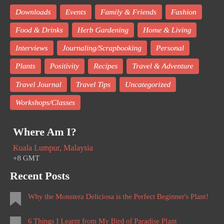Downloads
Events
Family & Friends
Fashion
Food & Drinks
Herb Gardening
Home & Living
Interviews
Journaling/Scrapbooking
Personal
Plants
Positivity
Recipes
Travel & Adventure
Travel Journal
Travel Tips
Uncategorized
Workshops/Classes
Where Am I?
Kuala Lumpur, Malaysia
+8 GMT
Recent Posts
Why the Monstera Deliciosa is the Perfect Beginner's Plant!
6 Things I Learnt from My Bird of Paradise Plant